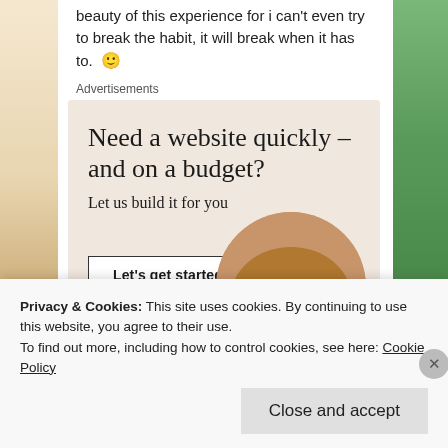beauty of this experience for i can't even try to break the habit, it will break when it has to. 🙂
Advertisements
[Figure (infographic): WordPress advertisement banner with beige/cream background. Headline: 'Need a website quickly – and on a budget?' Subheading: 'Let us build it for you'. White button: 'Let's get started'. WordPress logo (W in circle) at bottom left. Circular photo of a person's hands typing on a laptop at bottom right.]
Privacy & Cookies: This site uses cookies. By continuing to use this website, you agree to their use.
To find out more, including how to control cookies, see here: Cookie Policy
Close and accept